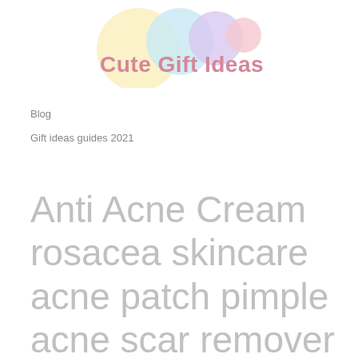[Figure (logo): Cute Gift Ideas logo with pastel colored circles (yellow, blue, purple, pink) and brand name in pink cursive-style text]
Blog
Gift ideas guides 2021
Anti Acne Cream rosacea skincare acne patch pimple acne scar remover skin lightening face cream to remove dark spot vitamin c